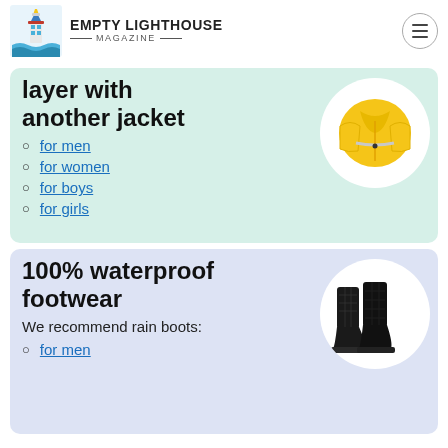EMPTY LIGHTHOUSE MAGAZINE
layer with another jacket
for men
for women
for boys
for girls
[Figure (photo): Yellow rain jacket on white circle background]
100% waterproof footwear
We recommend rain boots:
for men
[Figure (photo): Black rain boots on white circle background]